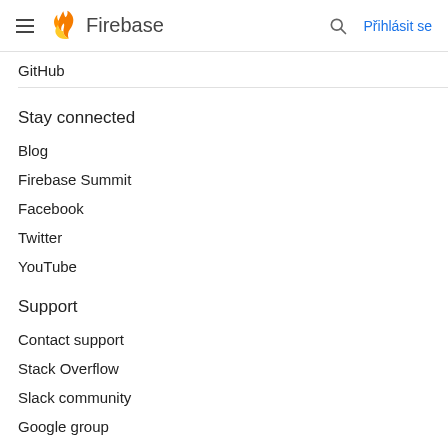Firebase — Přihlásit se
GitHub
Stay connected
Blog
Firebase Summit
Facebook
Twitter
YouTube
Support
Contact support
Stack Overflow
Slack community
Google group